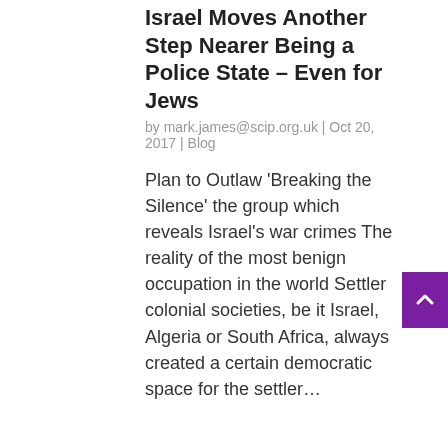Israel Moves Another Step Nearer Being a Police State – Even for Jews
by mark.james@scip.org.uk | Oct 20, 2017 | Blog
Plan to Outlaw 'Breaking the Silence' the group which reveals Israel's war crimes The reality of the most benign occupation in the world Settler colonial societies, be it Israel, Algeria or South Africa, always created a certain democratic space for the settler…
It's time to expel the Zionist 'Jewish' Labour Movement from the Labour Party
by mark.james@scip.org.uk | Oct 19, 2017 | Blog
An anti-racist party should not tolerate a racist affiliate which  supports Apartheid In 2004 Poale Zion (the Workers of Zion)